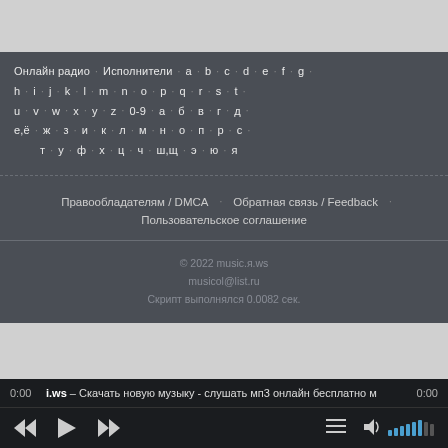Онлайн радио · Исполнители · a · b · c · d · e · f · g · h · i · j · k · l · m · n · o · p · q · r · s · t · u · v · w · x · y · z · 0-9 · а · б · в · г · д · е,ё · ж · з · и · к · л · м · н · о · п · р · с · т · у · ф · х · ц · ч · ш,щ · э · ю · я
Правообладателям / DMCA · Обратная связь / Feedback · Пользовательское соглашение
© 2022 music.я.ws
musicol@list.ru
Скрипт выполнялся 0.0082 сек.
0:00  i.ws – Скачать новую музыку - слушать мп3 онлайн бесплатно м  0:00